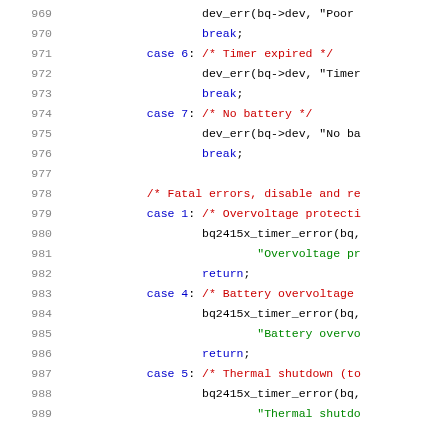[Figure (screenshot): Source code listing showing C code lines 969-989 with syntax highlighting. Line numbers in gray, keywords in blue, comments in red, strings in green, regular code in dark/black.]